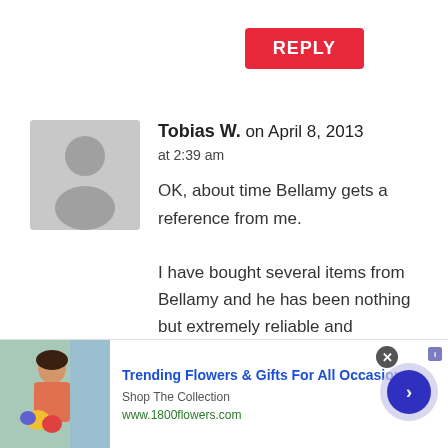REPLY
Tobias W. on April 8, 2013 at 2:39 am
OK, about time Bellamy gets a reference from me.

I have bought several items from Bellamy and he has been nothing but extremely reliable and
[Figure (infographic): Advertisement banner for 1800flowers.com - Trending Flowers & Gifts For All Occasions, Shop The Collection, www.1800flowers.com]